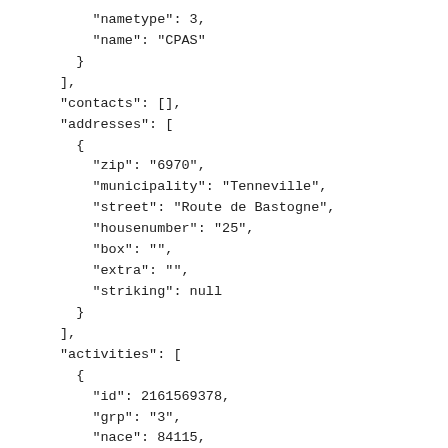"nametype": 3,
    "name": "CPAS"
  }
],
"contacts": [],
"addresses": [
  {
    "zip": "6970",
    "municipality": "Tenneville",
    "street": "Route de Bastogne",
    "housenumber": "25",
    "box": "",
    "extra": "",
    "striking": null
  }
],
"activities": [
  {
    "id": 2161569378,
    "grp": "3",
    "nace": 84115,
    "cls": "1"
  },
  {
    "id": 2161569378,